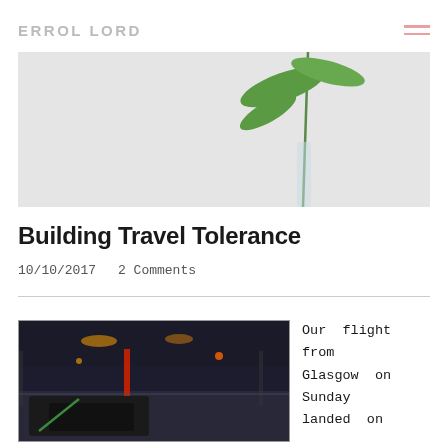ERROL LORD
[Figure (photo): Hero image showing a plant stem with green leaves in a glass vase against a light gray background]
Building Travel Tolerance
10/10/2017   2 Comments
[Figure (photo): Photo of an airport terminal at night with luggage on the floor in the foreground]
Our flight from Glasgow on Sunday landed on